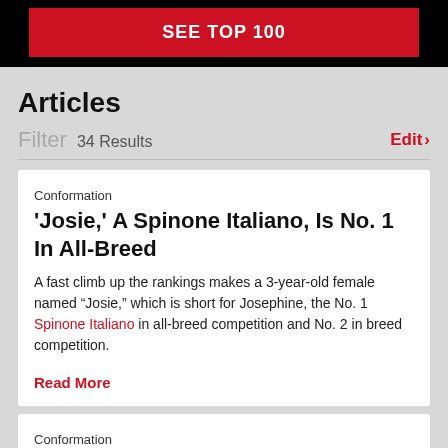SEE TOP 100
Articles
Filter  34 Results
Edit
Conformation
'Josie,' A Spinone Italiano, Is No. 1 In All-Breed
A fast climb up the rankings makes a 3-year-old female named “Josie,” which is short for Josephine, the No. 1 Spinone Italiano in all-breed competition and No. 2 in breed competition.
Read More
Conformation
Azawakh Named 'Relic' Wins Santa Barbara